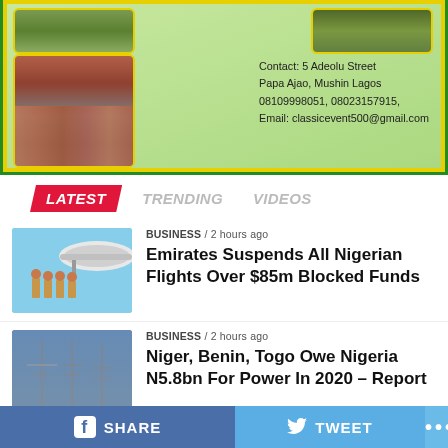[Figure (photo): Advertisement with green/yellow background showing stacked red chairs and contact information for an events company. Contact: 5 Adeolu Street Papa Ajao, Mushin Lagos 08109998051, 08023157915, Email: classicevent500@gmail.com]
Contact: 5 Adeolu Street Papa Ajao, Mushin Lagos 08109998051, 08023157915, Email: classicevent500@gmail.com
LATEST   TRENDING   VIDEOS
BUSINESS / 2 hours ago
Emirates Suspends All Nigerian Flights Over $85m Blocked Funds
BUSINESS / 2 hours ago
Niger, Benin, Togo Owe Nigeria N5.8bn For Power In 2020 – Report
SHARE   TWEET   ...